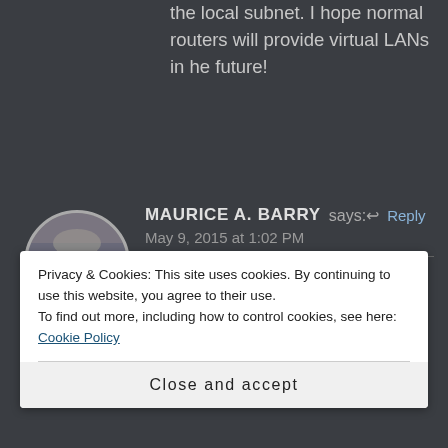the local subnet. I hope normal routers will provide virtual LANs in he future!
[Figure (photo): Circular avatar photo of Maurice A. Barry, a man with glasses wearing a purple shirt, appears to be in an office setting]
MAURICE A. BARRY says: ↩ Reply
May 9, 2015 at 1:02 PM
Indeed–the best solution of all. Keep 'em separate 'til the end :-) On that track, though, here's a question: is the
Privacy & Cookies: This site uses cookies. By continuing to use this website, you agree to their use.
To find out more, including how to control cookies, see here: Cookie Policy
Close and accept